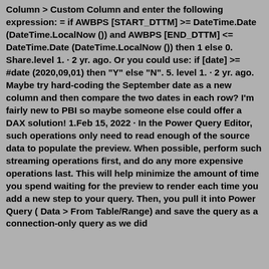Column > Custom Column and enter the following expression: = if AWBPS [START_DTTM] >= DateTime.Date (DateTime.LocalNow ()) and AWBPS [END_DTTM] <= DateTime.Date (DateTime.LocalNow ()) then 1 else 0. Share.level 1. · 2 yr. ago. Or you could use: if [date] >= #date (2020,09,01) then "Y" else "N". 5. level 1. · 2 yr. ago. Maybe try hard-coding the September date as a new column and then compare the two dates in each row? I'm fairly new to PBI so maybe someone else could offer a DAX solution! 1.Feb 15, 2022 · In the Power Query Editor, such operations only need to read enough of the source data to populate the preview. When possible, perform such streaming operations first, and do any more expensive operations last. This will help minimize the amount of time you spend waiting for the preview to render each time you add a new step to your query. Then, you pull it into Power Query ( Data > From Table/Range) and save the query as a connection-only query as we did